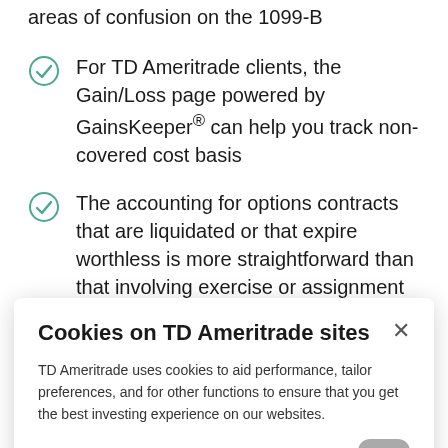areas of confusion on the 1099-B
For TD Ameritrade clients, the Gain/Loss page powered by GainsKeeper® can help you track non-covered cost basis
The accounting for options contracts that are liquidated or that expire worthless is more straightforward than that involving exercise or assignment
Cookies on TD Ameritrade sites
TD Ameritrade uses cookies to aid performance, tailor preferences, and for other functions to ensure that you get the best investing experience on our websites.
Adjust cookie settings
to know where to turn.